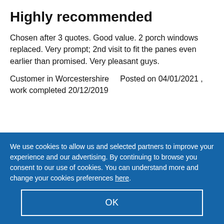Highly recommended
Chosen after 3 quotes. Good value. 2 porch windows replaced. Very prompt; 2nd visit to fit the panes even earlier than promised. Very pleasant guys.
Customer in Worcestershire    Posted on 04/01/2021 , work completed 20/12/2019
We use cookies to allow us and selected partners to improve your experience and our advertising. By continuing to browse you consent to our use of cookies. You can understand more and change your cookies preferences here.
OK